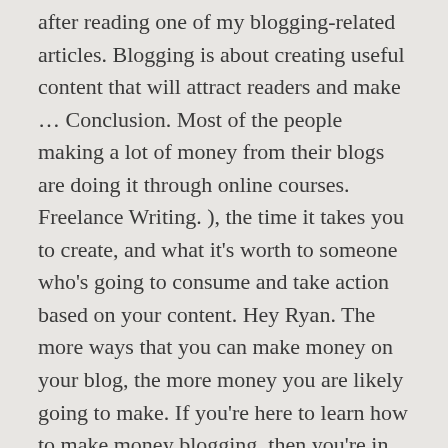after reading one of my blogging-related articles. Blogging is about creating useful content that will attract readers and make ... Conclusion. Most of the people making a lot of money from their blogs are doing it through online courses. Freelance Writing. ), the time it takes you to create, and what it's worth to someone who's going to consume and take action based on your content. Hey Ryan. The more ways that you can make money on your blog, the more money you are likely going to make. If you're here to learn how to make money blogging, then you're in the right place. They don't think about making money. Getting paid to interview 55 of my business heroes?